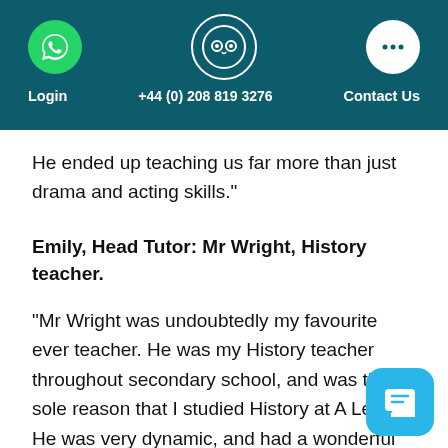Login   +44 (0) 208 819 3276   Contact Us
He ended up teaching us far more than just drama and acting skills."
Emily, Head Tutor: Mr Wright, History teacher.
“Mr Wright was undoubtedly my favourite ever teacher. He was my History teacher throughout secondary school, and was the sole reason that I studied History at A Level. He was very dynamic, and had a wonderful